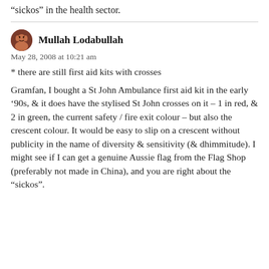“sickos” in the health sector.
Mullah Lodabullah
May 28, 2008 at 10:21 am
* there are still first aid kits with crosses
Gramfan, I bought a St John Ambulance first aid kit in the early ’90s, & it does have the stylised St John crosses on it – 1 in red, & 2 in green, the current safety / fire exit colour – but also the crescent colour. It would be easy to slip on a crescent without publicity in the name of diversity & sensitivity (& dhimmitude). I might see if I can get a genuine Aussie flag from the Flag Shop (preferably not made in China), and you are right about the “sickos”.